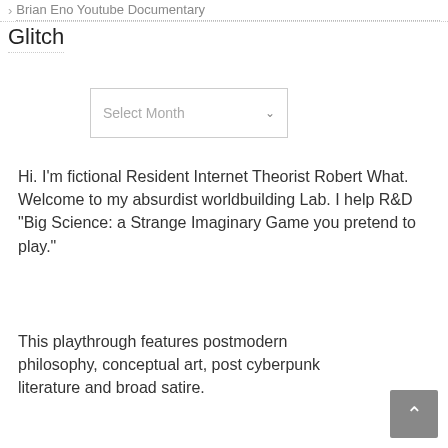Brian Eno Youtube Documentary
Glitch
[Figure (other): Select Month dropdown widget]
Hi. I'm fictional Resident Internet Theorist Robert What. Welcome to my absurdist worldbuilding Lab. I help R&D "Big Science: a Strange Imaginary Game you pretend to play."
This playthrough features postmodern philosophy, conceptual art, post cyberpunk literature and broad satire.